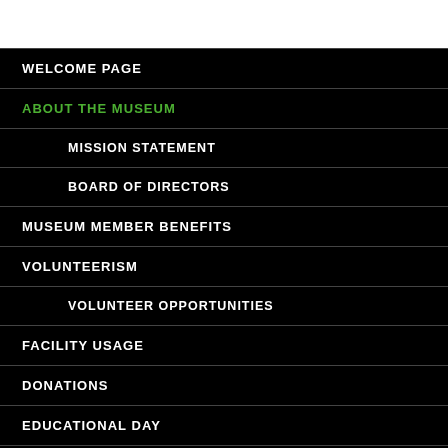WELCOME PAGE
ABOUT THE MUSEUM
MISSION STATEMENT
BOARD OF DIRECTORS
MUSEUM MEMBER BENEFITS
VOLUNTEERISM
VOLUNTEER OPPORTUNITIES
FACILITY USAGE
DONATIONS
EDUCATIONAL DAY